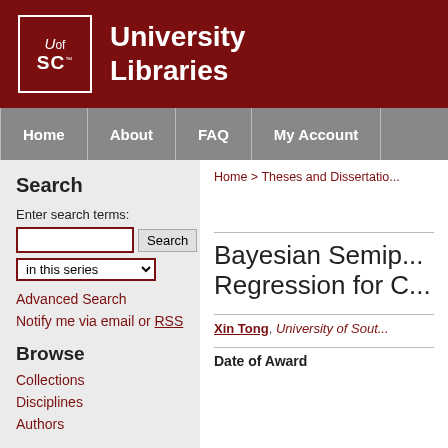University Libraries
Home  About  FAQ  My Account
Search
Enter search terms:
in this series
Advanced Search
Notify me via email or RSS
Browse
Collections
Disciplines
Authors
Home > Theses and Dissertatio...
Bayesian Semip... Regression for C...
Xin Tong, University of Sout...
Date of Award